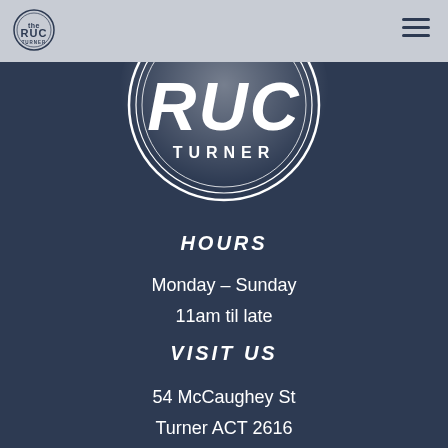The RUC Turner
[Figure (logo): RUC Turner circular logo — large white circle outline with 'RUC' in large bold white letters and 'TURNER' in smaller white caps below, on a dark navy background with a soft glowing light effect behind it.]
HOURS
Monday – Sunday
11am til late
VISIT US
54 McCaughey St
Turner ACT 2616